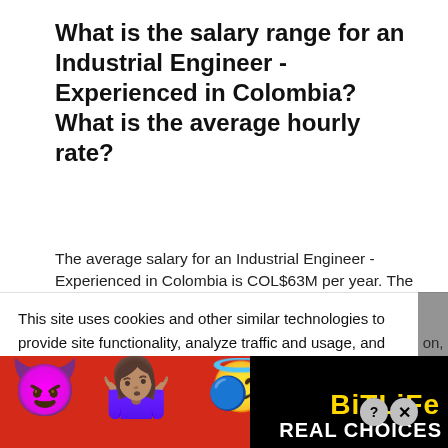What is the salary range for an Industrial Engineer - Experienced in Colombia? What is the average hourly rate?
The average salary for an Industrial Engineer - Experienced in Colombia is COL$63M per year. The salary range for an Industrial Engineer - Experienced is between COL$39M and COL$102M. While we are seeing hourly wages as high as COL$48,891 and as low as COL$18,607, the majority of Industrial Engineer - Experienceds are currently paid an average of COL$30,409 in...
This site uses cookies and other similar technologies to provide site functionality, analyze traffic and usage, and on, deliver you personalized content and advertisement ny...
[Figure (infographic): BitLife advertisement banner with colorful emojis (devil, person shrugging, angel), sperm emoji, BitLife logo in yellow on black, and REAL CHOICES text on black background. Red background with polka dots.]